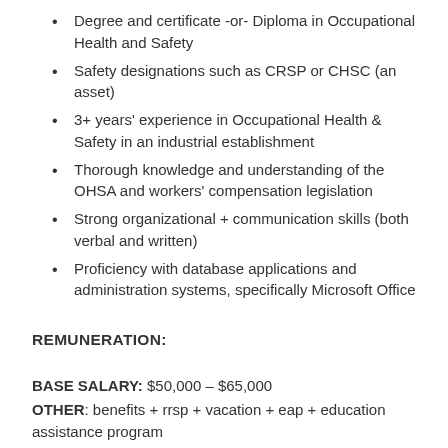Degree and certificate -or- Diploma in Occupational Health and Safety
Safety designations such as CRSP or CHSC (an asset)
3+ years' experience in Occupational Health & Safety in an industrial establishment
Thorough knowledge and understanding of the OHSA and workers' compensation legislation
Strong organizational + communication skills (both verbal and written)
Proficiency with database applications and administration systems, specifically Microsoft Office
REMUNERATION:
BASE SALARY: $50,000 – $65,000
OTHER: benefits + rrsp + vacation + eap + education assistance program